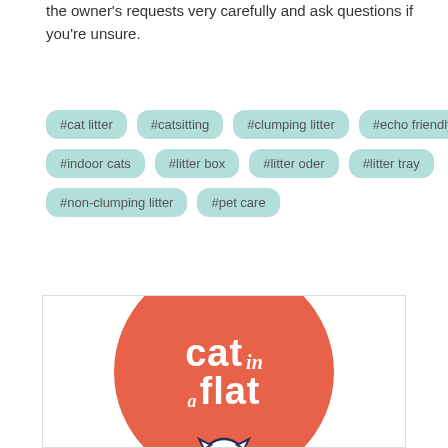the owner's requests very carefully and ask questions if you're unsure.
#cat litter
#catsitting
#clumping litter
#echo friendly litter
#indoor cats
#litter box
#litter oder
#litter tray
#non-clumping litter
#pet care
[Figure (logo): Cat in a Flat logo: coral/salmon colored circle with white handwritten-style text reading 'cat in a FLAT' with a cartoon cat illustration at the bottom]